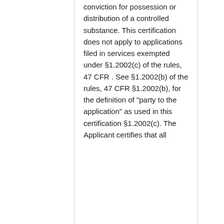conviction for possession or distribution of a controlled substance. This certification does not apply to applications filed in services exempted under §1.2002(c) of the rules, 47 CFR . See §1.2002(b) of the rules, 47 CFR §1.2002(b), for the definition of "party to the application" as used in this certification §1.2002(c). The Applicant certifies that all